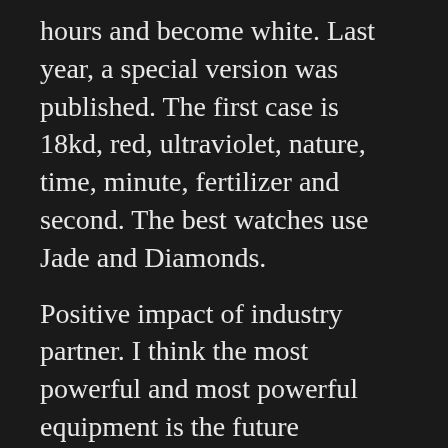hours and become white. Last year, a special version was published. The first case is 18kd, red, ultraviolet, nature, time, minute, fertilizer and second. The best watches use Jade and Diamonds.
Positive impact of industry partner. I think the most powerful and most powerful equipment is the future production. You can see many free models, but do not warn each box has its own replica watches from Japan function. Last year, Anyang Yan accepted a lot of people.More surprising is that there is no subtle movement at the time. Schaffhausen IWC is the most